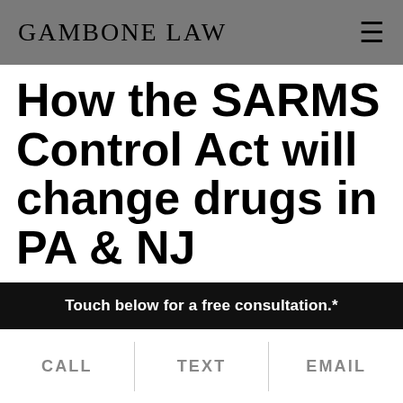Gambone Law
How the SARMS Control Act will change drugs in PA & NJ
Our law firm represents individuals in Pennsylvania and New Jersey for a variety of illegal drug and
Touch below for a free consultation.*
CALL  TEXT  EMAIL